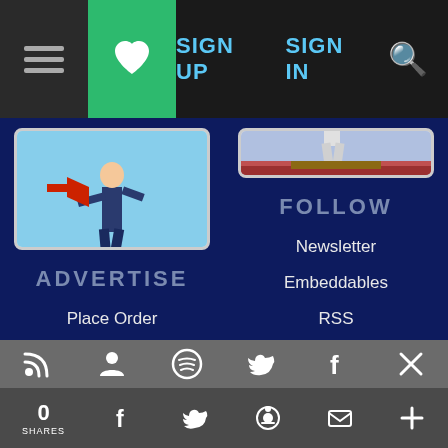SIGN UP  SIGN IN  [search]
[Figure (illustration): Person in suit holding red megaphone/bullhorn, shouting outdoors with blue sky background]
ADVERTISE
Place Order
Rates and Options
For Musicians
[Figure (photo): Performer on stage with arms raised holding a trombone above a large crowd at an outdoor concert]
FOLLOW
Newsletter
Embeddables
RSS
Twitter
Facebook
0 SHARES  [facebook] [twitter] [reddit] [email] [+]